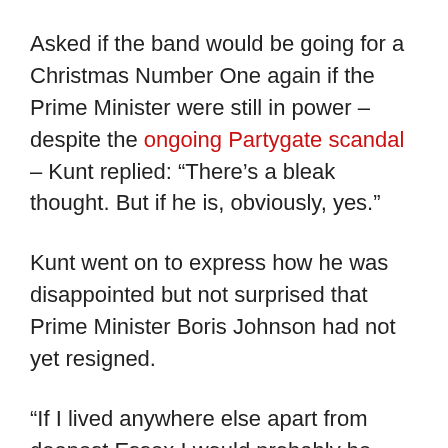Asked if the band would be going for a Christmas Number One again if the Prime Minister were still in power – despite the ongoing Partygate scandal – Kunt replied: “There’s a bleak thought. But if he is, obviously, yes.”
Kunt went on to express how he was disappointed but not surprised that Prime Minister Boris Johnson had not yet resigned.
“If I lived anywhere else apart from deepest Essex I would probably be surprised, but people round here seem unable and unwilling to want to break free from the Jedi mind trick Thatcher played on their